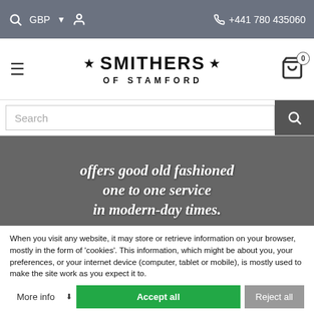GBP  +441 780 435060
[Figure (screenshot): Smithers of Stamford logo with hamburger menu and shopping cart showing 0 items]
[Figure (screenshot): Search bar with magnifying glass button]
[Figure (screenshot): Dark grey hero banner with italic bold white text: offers good old fashioned one to one service in modern-day times. with 7 white stars below]
When you visit any website, it may store or retrieve information on your browser, mostly in the form of 'cookies'. This information, which might be about you, your preferences, or your internet device (computer, tablet or mobile), is mostly used to make the site work as you expect it to.
More info  Accept all  Reject all